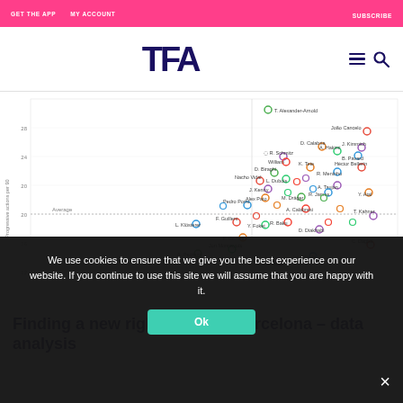GET THE APP   MY ACCOUNT   SUBSCRIBE
[Figure (logo): TFA logo in dark navy/purple bold letters]
[Figure (scatter-plot): Scatter plot of football right-backs plotting progressive actions per 90 minutes. Players labeled include T. Alexander-Arnold, Joao Cancelo, J. Kimmich, B. Pavard, A. Hakimi, D. Calabria, Hector Bellerin, K. Tete, R. Schmitz, D. Biraghi, William, Nacho Vidal, L. Dubois, J. Kenny, Alex Pato, M. Dräger, Pedro Porro, F. Castellc, Y. Foket, R. Baku, L. Klosterer, R. James, A. Calabresi, D. Diakhabi, Iter Mistia, C. Dagba, T. Kahner, Jon Moncayola, A. Pedraza, M. Thiensky. Axes show progressive actions per 90. Average line marked.]
We use cookies to ensure that we give you the best experience on our website. If you continue to use this site we will assume that you are happy with it.
Finding a new right-back for Barcelona – data analysis